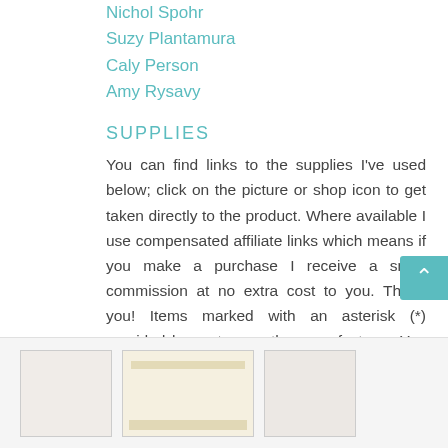Nichol Spohr
Suzy Plantamura
Caly Person
Amy Rysavy
SUPPLIES
You can find links to the supplies I've used below; click on the picture or shop icon to get taken directly to the product. Where available I use compensated affiliate links which means if you make a purchase I receive a small commission at no extra cost to you. Thank you! Items marked with an asterisk (*) provided by a store or the manufacturer. You can read my affiliate and product disclosure here. I genuinely appreciate your support.
[Figure (photo): Product image strip showing crafting/scrapbooking supplies at bottom of page]